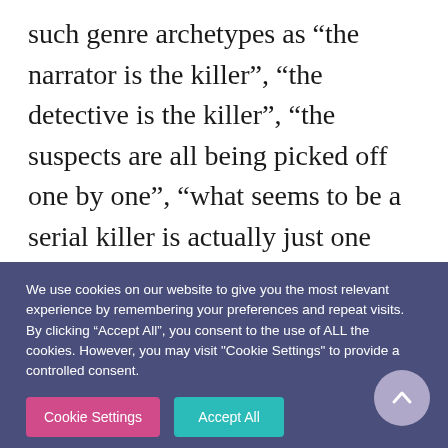such genre archetypes as “the narrator is the killer”, “the detective is the killer”, “the suspects are all being picked off one by one”, “what seems to be a serial killer is actually just one person obfuscating the murder of their single real target”, “the killer was a psychotic child” and of course “the killer was all of them.” But I enjoyed it, and I think a big
We use cookies on our website to give you the most relevant experience by remembering your preferences and repeat visits. By clicking “Accept All”, you consent to the use of ALL the cookies. However, you may visit "Cookie Settings" to provide a controlled consent.